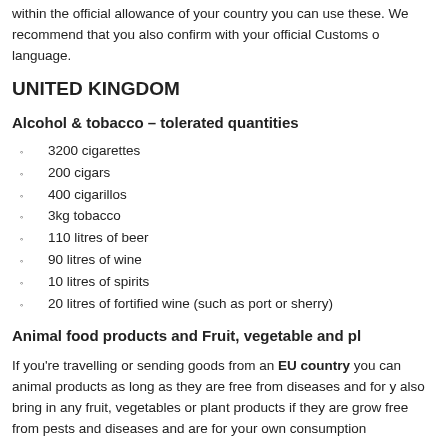within the official allowance of your country you can use these. We recommend that you also confirm with your official Customs office in your language.
UNITED KINGDOM
Alcohol & tobacco – tolerated quantities
3200 cigarettes
200 cigars
400 cigarillos
3kg tobacco
110 litres of beer
90 litres of wine
10 litres of spirits
20 litres of fortified wine (such as port or sherry)
Animal food products and Fruit, vegetable and pl…
If you're travelling or sending goods from an EU country you can bring animal products as long as they are free from diseases and for your own use. You can also bring in any fruit, vegetables or plant products if they are grown in the EU and are free from pests and diseases and are for your own consumption.